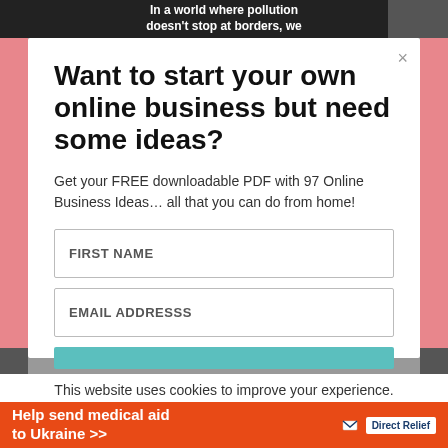[Figure (screenshot): Top banner with text 'In a world where pollution doesn't stop at borders, we' overlaid on dark background with partial image of person on right]
Want to start your own online business but need some ideas?
Get your FREE downloadable PDF with 97 Online Business Ideas… all that you can do from home!
FIRST NAME
EMAIL ADDRESSS
This website uses cookies to improve your experience.
Help send medical aid to Ukraine >>